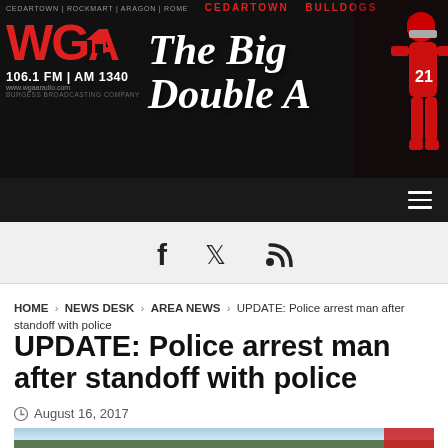[Figure (screenshot): WGA 106.1 FM / AM 1340 radio station website header banner with 'The Big Double A' text and Cedartown Bulldogs branding on dark background]
CEDARTOWN | ROCKMART | ARAGON | ROME   CEDARTOWN   BULLDOGS
f  𝕏  ⌂
HOME > NEWS DESK > AREA NEWS > UPDATE: Police arrest man after standoff with police
UPDATE: Police arrest man after standoff with police
August 16, 2017
[Figure (photo): Outdoor scene showing a vehicle on a road surrounded by trees with cloudy sky]